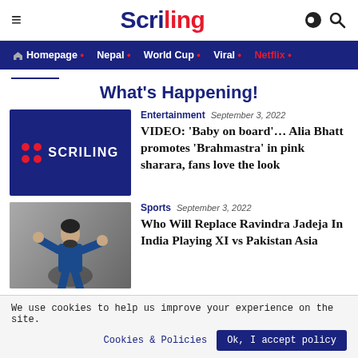Scriling
What's Happening!
Entertainment  September 3, 2022
VIDEO: 'Baby on board'... Alia Bhatt promotes 'Brahmastra' in pink sharara, fans love the look
Sports  September 3, 2022
Who Will Replace Ravindra Jadeja In India Playing XI vs Pakistan Asia
We use cookies to help us improve your experience on the site.